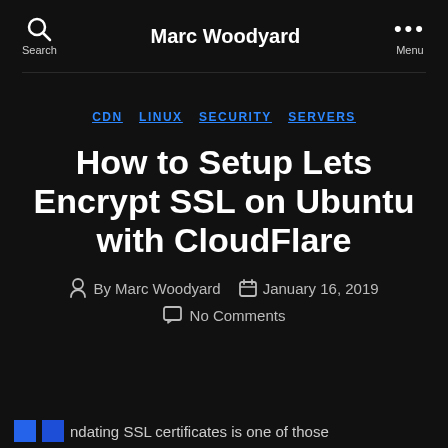Marc Woodyard
CDN  LINUX  SECURITY  SERVERS
How to Setup Lets Encrypt SSL on Ubuntu with CloudFlare
By Marc Woodyard  January 16, 2019  No Comments
ndating SSL certificates is one of those